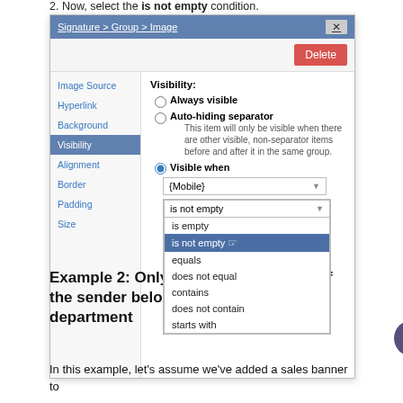2. Now, select the is not empty condition.
[Figure (screenshot): A dialog box titled 'Signature > Group > Image' showing visibility settings. The left nav has items: Image Source, Hyperlink, Background, Visibility (selected/active), Alignment, Border, Padding, Size. The right panel shows Visibility options: Always visible (radio), Auto-hiding separator (radio) with description, Visible when (radio, selected) with a dropdown showing {Mobile}, then a dropdown showing 'is not empty' open with options: is empty, is not empty (highlighted/selected), equals, does not equal, contains, does not contain, starts with. There is a Delete button in the toolbar.]
Example 2: Only display this element if the sender belongs to a particular department
In this example, let's assume we've added a sales banner to the signature. But we'd only like to display this image to...